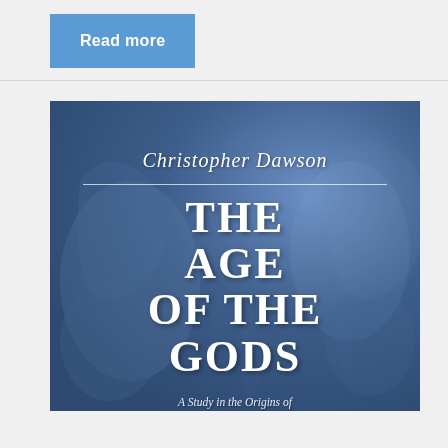[Figure (other): Blue button labeled 'Read more' on a light gray background]
[Figure (illustration): Book cover of 'The Age of the Gods' by Christopher Dawson. Blue-toned relief sculpture background with white text. Author name in italic serif at top, horizontal divider line, large bold title 'THE AGE OF THE GODS', italic subtitle 'A Study in the Origins of Culture in Prehistoric Europe and the Ancient East'.]